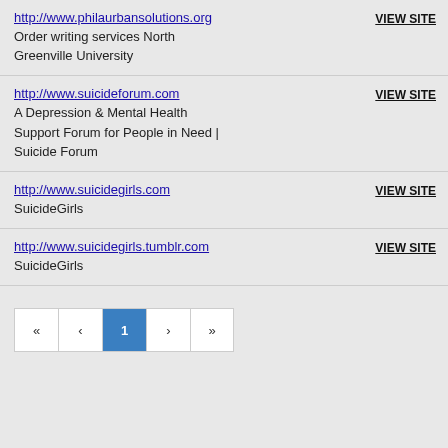http://www.philaurbansolutions.org
Order writing services North Greenville University
http://www.suicideforum.com
A Depression & Mental Health Support Forum for People in Need | Suicide Forum
http://www.suicidegirls.com
SuicideGirls
http://www.suicidegirls.tumblr.com
SuicideGirls